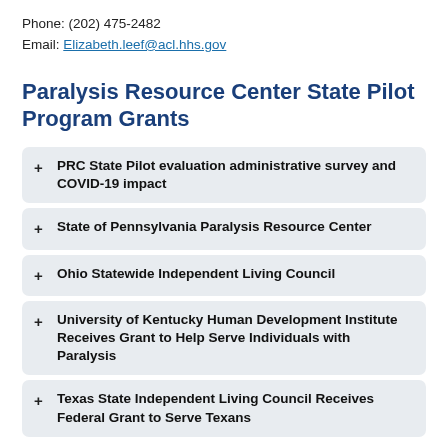Phone: (202) 475-2482
Email: Elizabeth.leef@acl.hhs.gov
Paralysis Resource Center State Pilot Program Grants
PRC State Pilot evaluation administrative survey and COVID-19 impact
State of Pennsylvania Paralysis Resource Center
Ohio Statewide Independent Living Council
University of Kentucky Human Development Institute Receives Grant to Help Serve Individuals with Paralysis
Texas State Independent Living Council Receives Federal Grant to Serve Texans